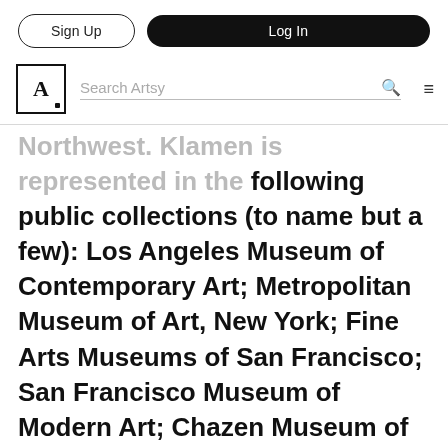Sign Up | Log In
Search Artsy
Northwest. Klamen is represented in the following public collections (to name but a few): Los Angeles Museum of Contemporary Art; Metropolitan Museum of Art, New York; Fine Arts Museums of San Francisco; San Francisco Museum of Modern Art; Chazen Museum of Art, Madison, Wisconsin; Whitney Museum of American Art, New York; Museum of Contemporary Art, Chicago; Krannert Art Museum, Champaign, Illinois; National Museum of Contemporary